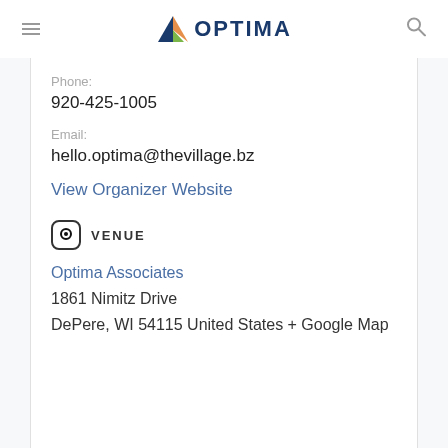OPTIMA
Phone:
920-425-1005
Email:
hello.optima@thevillage.bz
View Organizer Website
VENUE
Optima Associates
1861 Nimitz Drive
DePere, WI 54115 United States + Google Map